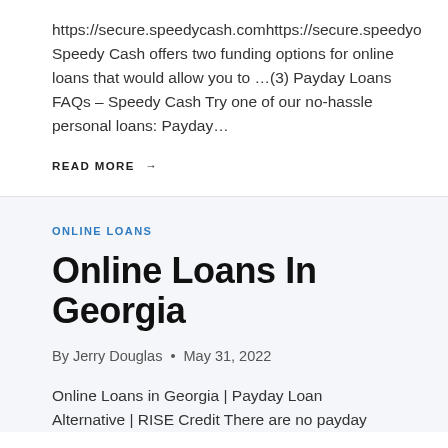https://secure.speedycash.comhttps://secure.speedyo Speedy Cash offers two funding options for online loans that would allow you to …(3) Payday Loans FAQs – Speedy Cash Try one of our no-hassle personal loans: Payday…
READ MORE →
ONLINE LOANS
Online Loans In Georgia
By Jerry Douglas • May 31, 2022
Online Loans in Georgia | Payday Loan Alternative | RISE Credit There are no payday